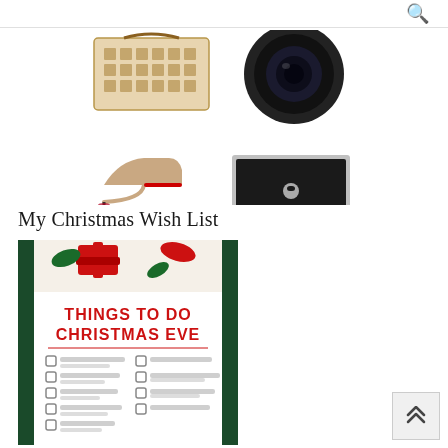🔍
[Figure (photo): Collage of four product photos: Louis Vuitton handbag (top-left), camera lens (top-right), nude high heel stiletto shoes (bottom-left), MacBook laptop (bottom-right)]
My Christmas Wish List
[Figure (photo): Christmas-themed checklist image with red and green decorations, title 'THINGS TO DO CHRISTMAS EVE' in bold red text, with checkbox items listed below]